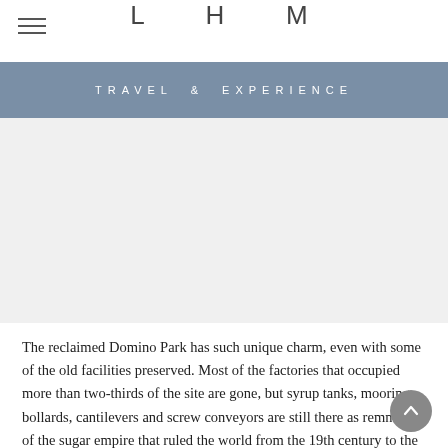LHM
TRAVEL & EXPERIENCE
[Figure (photo): Light grey placeholder area representing an image, likely of Domino Park]
The reclaimed Domino Park has such unique charm, even with some of the old facilities preserved. Most of the factories that occupied more than two-thirds of the site are gone, but syrup tanks, mooring bollards, cantilevers and screw conveyors are still there as remnants of the sugar empire that ruled the world from the 19th century to the mid-20th century. You can find even